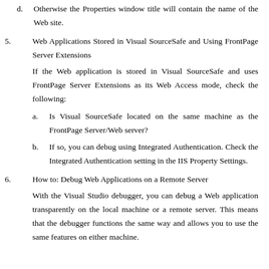d. Otherwise the Properties window title will contain the name of the Web site.
5. Web Applications Stored in Visual SourceSafe and Using FrontPage Server Extensions
If the Web application is stored in Visual SourceSafe and uses FrontPage Server Extensions as its Web Access mode, check the following:
a. Is Visual SourceSafe located on the same machine as the FrontPage Server/Web server?
b. If so, you can debug using Integrated Authentication. Check the Integrated Authentication setting in the IIS Property Settings.
6. How to: Debug Web Applications on a Remote Server
With the Visual Studio debugger, you can debug a Web application transparently on the local machine or a remote server. This means that the debugger functions the same way and allows you to use the same features on either machine.